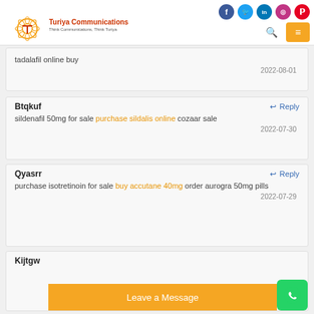Turiya Communications — Think Communications, Think Turiya
tadalafil online buy
2022-08-01
Btqkuf — Reply
sildenafil 50mg for sale purchase sildalis online cozaar sale
2022-07-30
Qyasrr — Reply
purchase isotretinoin for sale buy accutane 40mg order aurogra 50mg pills
2022-07-29
Kijtgw — Reply
Leave a Message